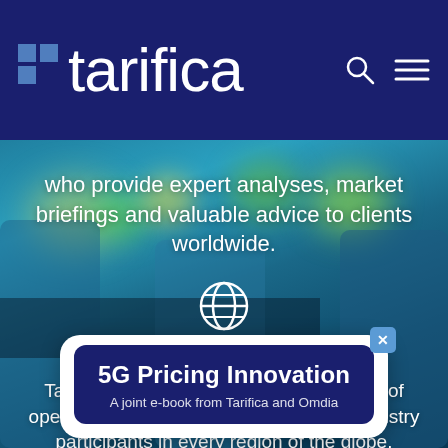[Figure (screenshot): Tarifica website navigation bar with logo on dark navy blue background with search and menu icons]
who provide expert analyses, market briefings and valuable advice to clients worldwide.
[Figure (illustration): Globe/world icon in white]
Global Scope
Tarifica's clients include an extensive list of operators, regulators, consultants and industry participants in every region of the globe.
[Figure (other): Popup card with dark navy background showing '5G Pricing Innovation - A joint e-book from Tarifica and Omdia' with close button]